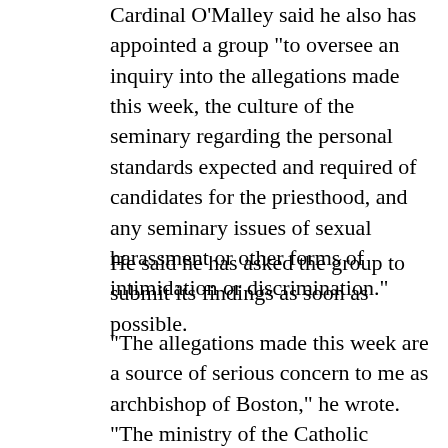Cardinal O'Malley said he also has appointed a group “to oversee an inquiry into the allegations made this week, the culture of the seminary regarding the personal standards expected and required of candidates for the priesthood, and any seminary issues of sexual harassment or other forms of intimidation or discrimination.”
He said he has asked the group to submit its findings as soon as possible.
“The allegations made this week are a source of serious concern to me as archbishop of Boston,” he wrote. “The ministry of the Catholic priesthood requires a foundation of trust with the people of the church and the wider community in which our priests serve. I am determined that all our seminaries meet that standard of trust and provide the formation necessary for priests to live a demanding